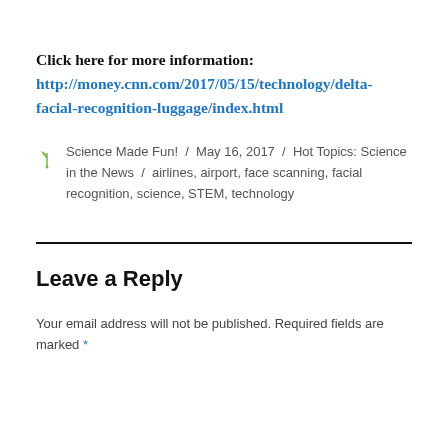Click here for more information: http://money.cnn.com/2017/05/15/technology/delta-facial-recognition-luggage/index.html
Science Made Fun! / May 16, 2017 / Hot Topics: Science in the News / airlines, airport, face scanning, facial recognition, science, STEM, technology
Leave a Reply
Your email address will not be published. Required fields are marked *